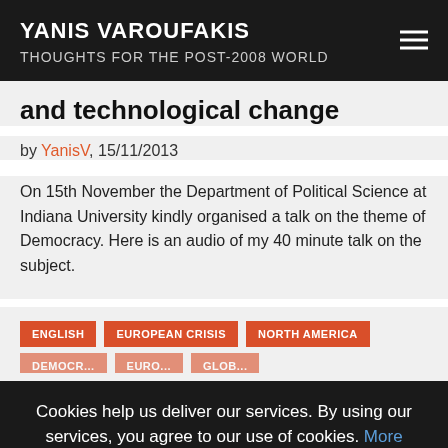YANIS VAROUFAKIS
THOUGHTS FOR THE POST-2008 WORLD
and technological change
by YanisV, 15/11/2013
On 15th November the Department of Political Science at Indiana University kindly organised a talk on the theme of Democracy. Here is an audio of my 40 minute talk on the subject.
ENGLISH  EUROPEAN CRISIS  NORTH AMERICA
Cookies help us deliver our services. By using our services, you agree to our use of cookies. More Information  Accept